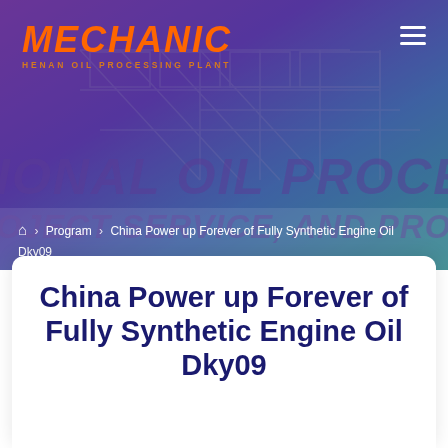[Figure (illustration): Hero banner with purple-to-teal gradient background showing an industrial oil processing plant structure with steel beams and scaffolding overlay. Large faded italic text reads 'IONAL OIL PROCESSING' and 'OJECT SERVICE, AND PROFESSIONAL OIL PLANT TECHN' in the background.]
MECHANIC HENAN OIL PROCESSING PLANT
⌂ › Program › China Power up Forever of Fully Synthetic Engine Oil Dky09
China Power up Forever of Fully Synthetic Engine Oil Dky09